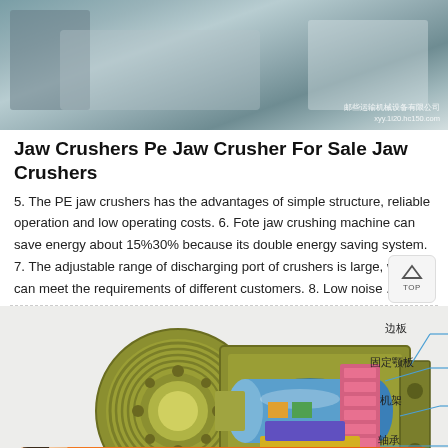[Figure (photo): Close-up photo of industrial jaw crusher machinery parts, metal components in grey-green tones. Chinese company watermark visible.]
Jaw Crushers Pe Jaw Crusher For Sale Jaw Crushers
5. The PE jaw crushers has the advantages of simple structure, reliable operation and low operating costs. 6. Fote jaw crushing machine can save energy about 15%30% because its double energy saving system. 7. The adjustable range of discharging port of crushers is large, which can meet the requirements of different customers. 8. Low noise ...
[Figure (engineering-diagram): Cutaway engineering diagram of a jaw crusher assembly showing flywheel, eccentric shaft, bearing, frame, fixed jaw plate, and side plate. Labels in Chinese: 边板 (side plate), 固定颚板 (fixed jaw plate), 机架 (frame), 轴承 (bearing).]
Message   Online Chat